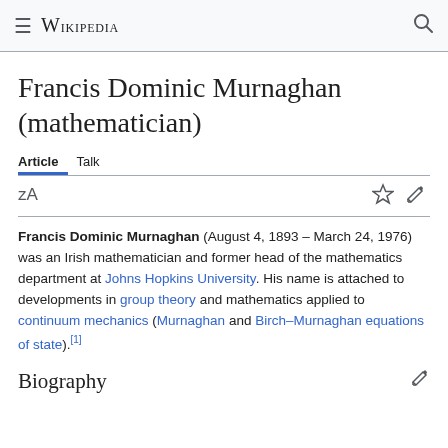≡ Wikipedia 🔍
Francis Dominic Murnaghan (mathematician)
Article   Talk
Francis Dominic Murnaghan (August 4, 1893 – March 24, 1976) was an Irish mathematician and former head of the mathematics department at Johns Hopkins University. His name is attached to developments in group theory and mathematics applied to continuum mechanics (Murnaghan and Birch–Murnaghan equations of state).[1]
Biography